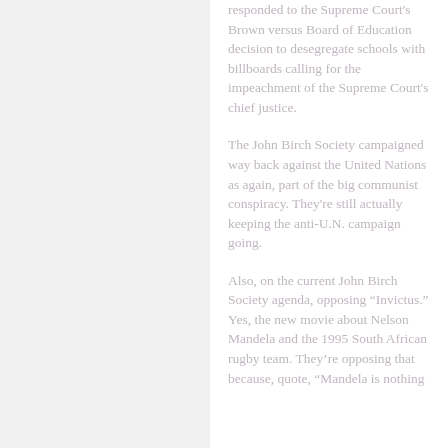responded to the Supreme Court's Brown versus Board of Education decision to desegregate schools with billboards calling for the impeachment of the Supreme Court's chief justice.
The John Birch Society campaigned way back against the United Nations as again, part of the big communist conspiracy. They're still actually keeping the anti-U.N. campaign going.
Also, on the current John Birch Society agenda, opposing "Invictus." Yes, the new movie about Nelson Mandela and the 1995 South African rugby team. They're opposing that because, quote, "Mandela is nothing